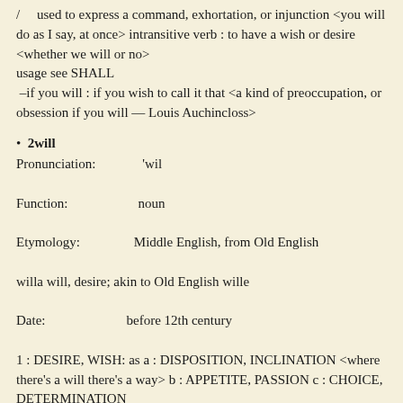/ used to express a command, exhortation, or injunction <you will do as I say, at once> intransitive verb : to have a wish or desire <whether we will or no> usage see SHALL –if you will : if you wish to call it that <a kind of preoccupation, or obsession if you will — Louis Auchincloss>
• 2will
Pronunciation:    'wil
Function:         noun
Etymology:        Middle English, from Old English willa will, desire; akin to Old English wille
Date:             before 12th century
1 : DESIRE, WISH: as a : DISPOSITION, INCLINATION <where there's a will there's a way> b : APPETITE, PASSION c : CHOICE, DETERMINATION
2 a : something desired especially : a choice or determination of one having authority or power b (1) archaic : REQUEST, COMMAND (2) [from the phrase our will is which introduces it] : the part of a summons expressing a royal command
3 : the act, process, or experience of willing : VOLITION